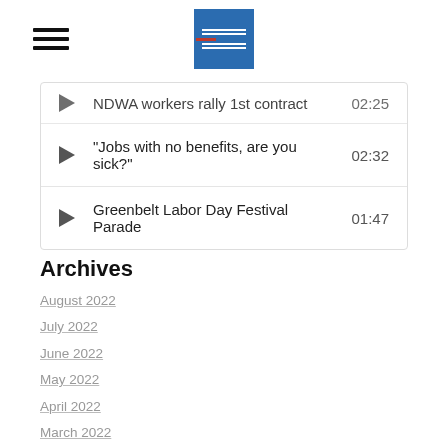[Navigation header with hamburger menu and organization logo]
NDWA workers rally 1st contract — 02:25
"Jobs with no benefits, are you sick?" — 02:32
Greenbelt Labor Day Festival Parade — 01:47
Archives
August 2022
July 2022
June 2022
May 2022
April 2022
March 2022
February 2022
January 2022
December 2021
November 2021
October 2021